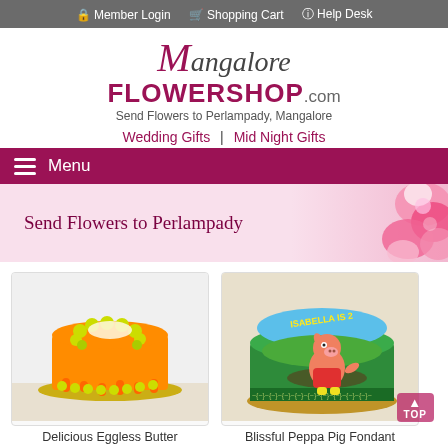Member Login  Shopping Cart  Help Desk
[Figure (logo): Mangalore FLOWERSHOP.com logo with tagline 'Send Flowers to Perlampady, Mangalore']
Wedding Gifts | Mid Night Gifts
Menu
[Figure (photo): Pink banner reading 'Send Flowers to Perlampady' with pink roses on the right]
[Figure (photo): Orange and yellow eggless butter cake with drip design]
Delicious Eggless Butter
[Figure (photo): Peppa Pig fondant cake with 'Isabella is 2' text, featuring Peppa Pig character on green background]
Blissful Peppa Pig Fondant